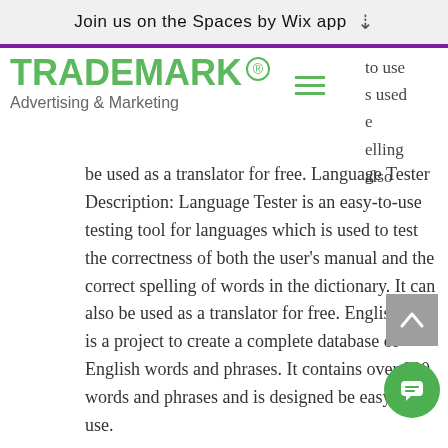Join us on the Spaces by Wix app
TRADEMARK ® Advertising & Marketing
to use s used e elling also be used as a translator for free. Language Tester Description: Language Tester is an easy-to-use testing tool for languages which is used to test the correctness of both the user's manual and the correct spelling of words in the dictionary. It can also be used as a translator for free. English Pro is a project to create a complete database of English words and phrases. It contains over 900 words and phrases and is designed be easy to use.